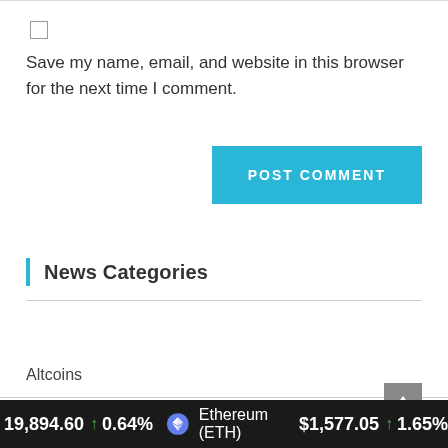Save my name, email, and website in this browser for the next time I comment.
POST COMMENT
News Categories
Altcoins
Blockchain
Ethereum
Market Analysis
19,894.60 ↑ 0.64% Ethereum (ETH) $1,577.05 ↑ 1.65%